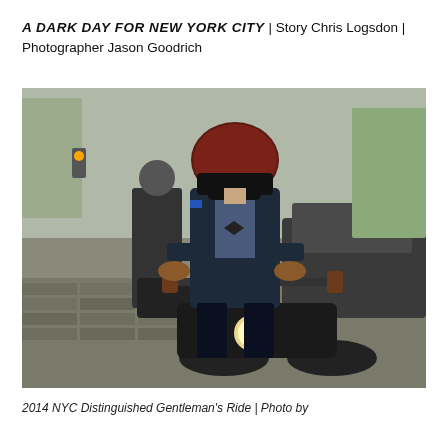A DARK DAY FOR NEW YORK CITY | Story Chris Logsdon | Photographer Jason Goodrich
[Figure (photo): A well-dressed motorcyclist wearing a dark burgundy helmet, sunglasses, a navy suit with a patterned shirt and bow tie, and tan leather gloves rides a motorcycle on a cobblestone street in New York City. Another motorcyclist is visible in the background.]
2014 NYC Distinguished Gentleman's Ride | Photo by